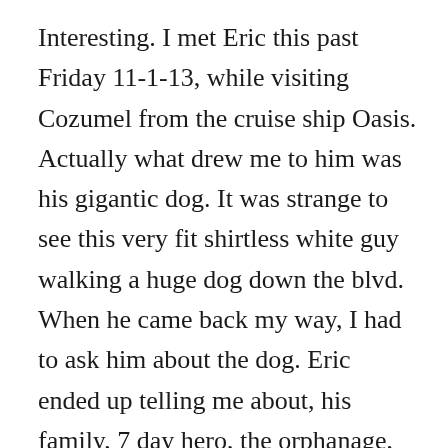Interesting. I met Eric this past Friday 11-1-13, while visiting Cozumel from the cruise ship Oasis. Actually what drew me to him was his gigantic dog. It was strange to see this very fit shirtless white guy walking a huge dog down the blvd. When he came back my way, I had to ask him about the dog. Eric ended up telling me about, his family, 7 day hero, the orphanage, the garden, the poison ivy like stuff, and of course the dog. he gave me the the website address for the organization, so I've looked it up and found this article. Amazaing. I am a Vietnam vet, a former senior pastor, and currently work as a part time prison chaplain, and am fascinated by what you are doing. I